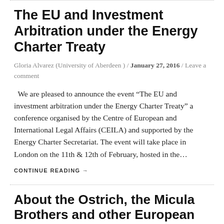The EU and Investment Arbitration under the Energy Charter Treaty
Gloria Alvarez (University of Aberdeen ) / January 27, 2016 / Leave a comment
We are pleased to announce the event “The EU and investment arbitration under the Energy Charter Treaty” a conference organised by the Centre of European and International Legal Affairs (CEILA) and supported by the Energy Charter Secretariat. The event will take place in London on the 11th & 12th of February, hosted in the…
CONTINUE READING →
About the Ostrich, the Micula Brothers and other European Fables
Gloria Alvarez (University of Aberdeen ) / April 22, 2015 / Leave a comment